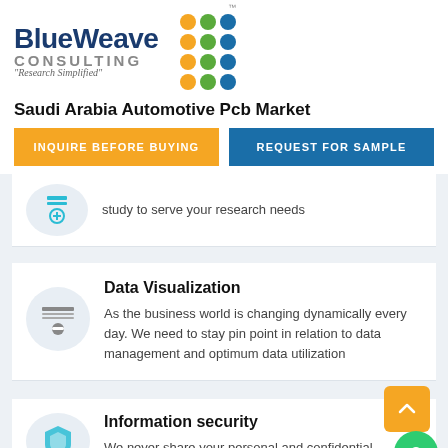[Figure (logo): BlueWeave Consulting logo with dot grid pattern and tagline 'Research Simplified']
Saudi Arabia Automotive Pcb Market
INQUIRE BEFORE BUYING
REQUEST FOR SAMPLE
study to serve your research needs
Data Visualization
As the business world is changing dynamically every day. We need to stay pin point in relation to data management and optimum data utilization
Information security
We never share your personal and confidential